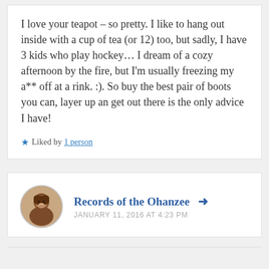I love your teapot – so pretty. I like to hang out inside with a cup of tea (or 12) too, but sadly, I have 3 kids who play hockey… I dream of a cozy afternoon by the fire, but I'm usually freezing my a** off at a rink. :). So buy the best pair of boots you can, layer up an get out there is the only advice I have!
★ Liked by 1 person
Records of the Ohanzee
JANUARY 11, 2016 AT 4:23 PM